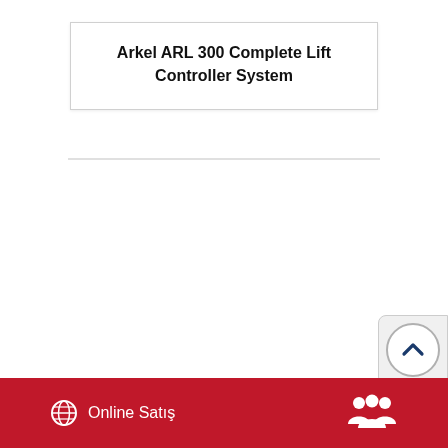Arkel ARL 300 Complete Lift Controller System
[Figure (other): Scroll-to-top button with a dark blue chevron up arrow inside a circle, on a light gray rounded rectangle background]
Online Satış